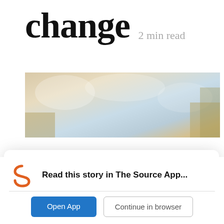change  2 min read
[Figure (photo): Blurred outdoor photo with trees and sky in warm/cool tones]
Manage Cookie Consent
We use cookies to optimize our website and our service.
Accept
Cookie Policy
Read this story in The Source App...
Open App
Continue in browser